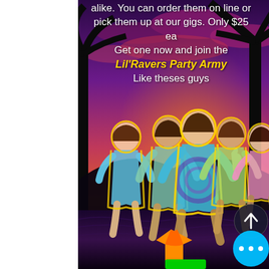[Figure (photo): Social media promotional post for Lil'Ravers Party Army merchandise. Background shows a tropical sunset with palm trees and vibrant purple-pink sky. Five children wearing colorful tie-dye t-shirts are featured with yellow outline cutouts. An orange t-shirt icon above a green box appears at the bottom center. Navigation buttons (up arrow and more/ellipsis) appear on the right side.]
alike. You can order them on line or pick them up at our gigs. Only $25 ea
Get one now and join the
Lil'Ravers Party Army
Like theses guys